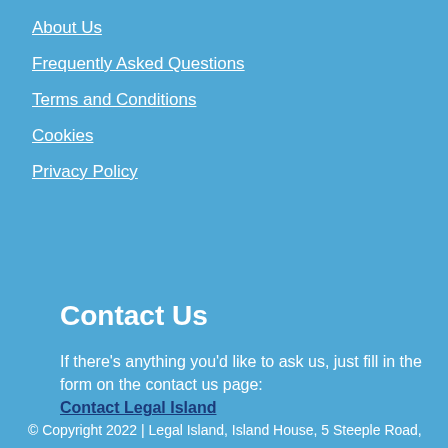About Us
Frequently Asked Questions
Terms and Conditions
Cookies
Privacy Policy
Contact Us
If there's anything you'd like to ask us, just fill in the form on the contact us page: Contact Legal Island
© Copyright 2022 | Legal Island, Island House, 5 Steeple Road,